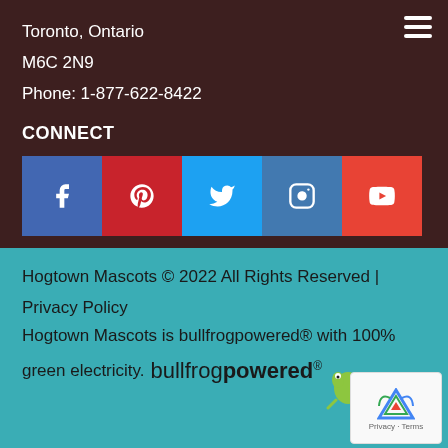Toronto, Ontario
M6C 2N9
Phone: 1-877-622-8422
CONNECT
[Figure (infographic): Social media icon buttons: Facebook (blue), Pinterest (red), Twitter (light blue), Instagram (blue), YouTube (red)]
Hogtown Mascots © 2022 All Rights Reserved | Privacy Policy
Hogtown Mascots is bullfrogpowered® with 100% green electricity. bullfrogpowered®